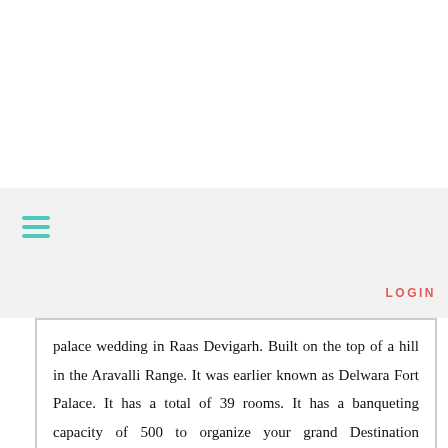[Figure (other): Top white area - image placeholder region]
≡  LOGIN
palace wedding in Raas Devigarh. Built on the top of a hill in the Aravalli Range. It was earlier known as Delwara Fort Palace. It has a total of 39 rooms. It has a banqueting capacity of 500 to organize your grand Destination Wedding.